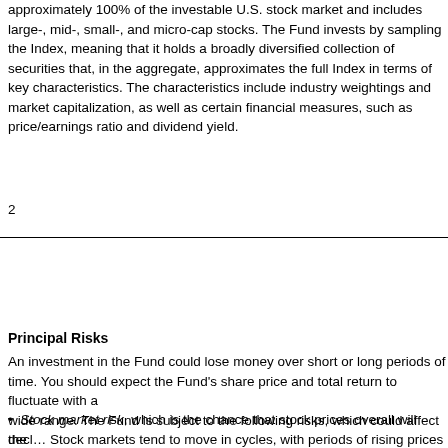approximately 100% of the investable U.S. stock market and includes large-, mid-, small-, and micro-cap stocks. The Fund invests by sampling the Index, meaning that it holds a broadly diversified collection of securities that, in the aggregate, approximates the full Index in terms of key characteristics. The characteristics include industry weightings and market capitalization, as well as certain financial measures, such as price/earnings ratio and dividend yield.
2
Principal Risks
An investment in the Fund could lose money over short or long periods of time. You should expect the Fund's share price and total return to fluctuate within a wide range. The Fund is subject to the following risks, which could affect the Fund's performance:
Stock market risk, which is the chance that stock prices overall will decline. Stock markets tend to move in cycles, with periods of rising prices and periods of falling prices. In addition, the Fund's target index may, at times, become focused in stocks of a particular market sector, which would subject the Fund to proportionately higher exposure to the risks of that sector.
Index sampling risk, which is the chance that the securities selected for the Fund, in the aggregate, will not provide investment performance matching that of the Index.